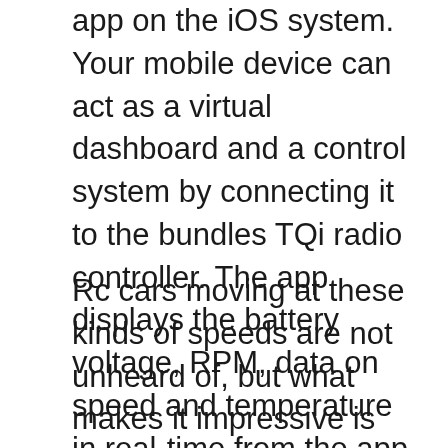app on the iOS system. Your mobile device can act as a virtual dashboard and a control system by connecting it to the bundles TQi radio controller. The app displays the battery voltage, RPM, data on speed and temperature in real-time from the app, and it also has a series of sliders that allow you to adjust the steering sensitivity, throttle trim, and a lot of other things. You can use saved customized profiles to control different cars or driving environments.
Rc cars moving at these kinds of speeds are not unheard of, but what makes it impressive is that it is an off-the-shelf vehicle – with its $1,099 price, it better be worth it. This remote control car is not a toy and is meant to be used by experts. Traxxas warns that